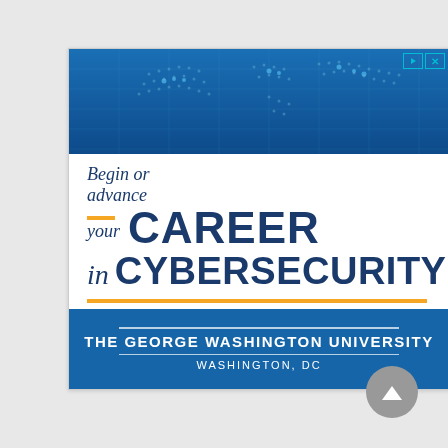[Figure (illustration): Advertisement for The George Washington University cybersecurity program. Top section shows a blue digital world map background. Middle white section reads 'Begin or advance your CAREER in CYBERSECURITY' with a gold decorative dash and gold horizontal rule. Bottom blue section shows 'THE GEORGE WASHINGTON UNIVERSITY' and 'WASHINGTON, DC' in white text.]